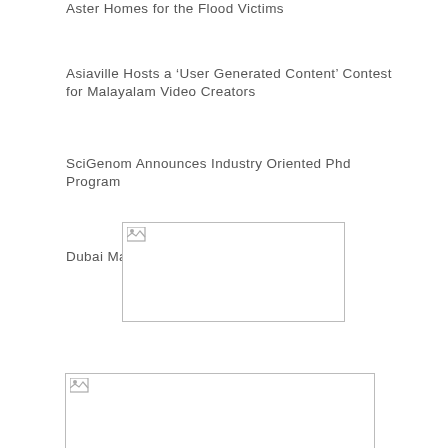Aster Homes for the Flood Victims
Asiaville Hosts a ‘User Generated Content’ Contest for Malayalam Video Creators
SciGenom Announces Industry Oriented Phd Program
Dubai Malayalee Association Meeting
[Figure (photo): Broken image placeholder (image failed to load), rectangular box with broken image icon in top-left corner]
[Figure (photo): Broken image placeholder (image failed to load), rectangular box with broken image icon in top-left corner]